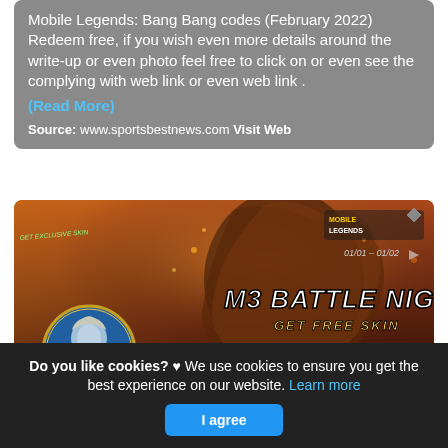Mobile Legends: Bang Bang codes (February 2022) Redeem free, if you wish even more details around the write-up or even photo feel free to click on or even see the complying with web link or even web link .
(Read More)
Source: www.sportsbestnews.com Visit Web
[Figure (screenshot): Mobile Legends Bang Bang M3 Battle Night promotional banner showing a game character in a circle, armored warrior figure, M3 Battle Night GET FREE SKIN text, date 01/01 - 01/02, Mobile Legends logo, and a Suivre button]
Do you like cookies? ♥ We use cookies to ensure you get the best experience on our website. Learn more
I agree